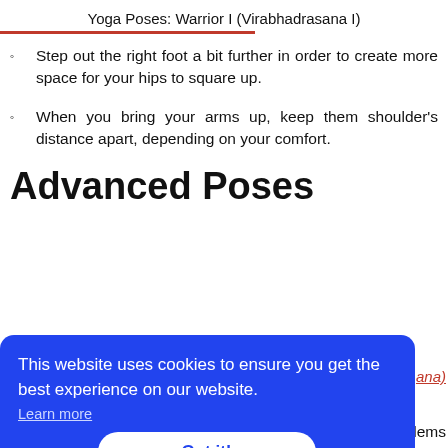Yoga Poses: Warrior I (Virabhadrasana I)
Step out the right foot a bit further in order to create more space for your hips to square up.
When you bring your arms up, keep them shoulder's distance apart, depending on your comfort.
Advanced Poses
[Figure (screenshot): Cookie consent banner overlay in blue: 'This website uses cookies to ensure you get the best experience on our website.' with 'Learn more' link and 'Got it!' button. Partially visible red italic link text 'ana)' at right. Partially visible text 'oblems' at bottom right.]
Avoid this pose if you are suffering from Diarrhea